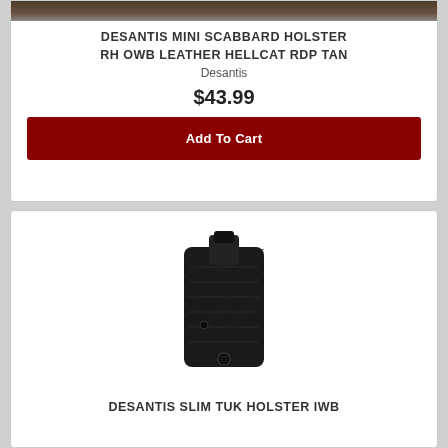[Figure (photo): Partial photo of DeSantis Mini Scabbard tan leather holster worn on hip]
DESANTIS MINI SCABBARD HOLSTER RH OWB LEATHER HELLCAT RDP TAN
Desantis
$43.99
Add To Cart
[Figure (photo): Black polymer IWB holster, DeSantis Slim Tuk, front view showing clip and retention details]
DESANTIS SLIM TUK HOLSTER IWB